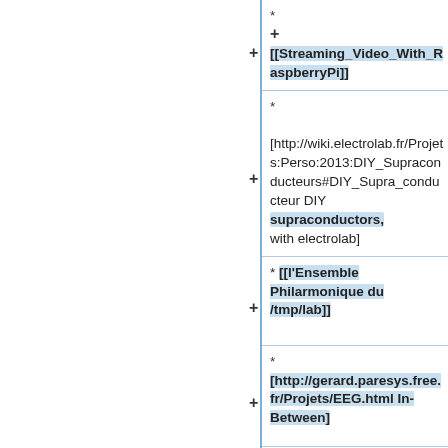* [[Streaming_Video_With_RaspberryPi]]
* [http://wiki.electrolab.fr/Projets:Perso:2013:DIY_Supraconducteurs#DIY_Supra_conducteur DIY supraconductors, with electrolab]
* [[l'Ensemble Philarmonique du /tmp/lab]]
* [http://gerard.paresys.free.fr/Projets/EEG.html In-Between]
* [[Atelier électronique]]
* [https://pads.usinette.org/p/Charly_rebuild CNC